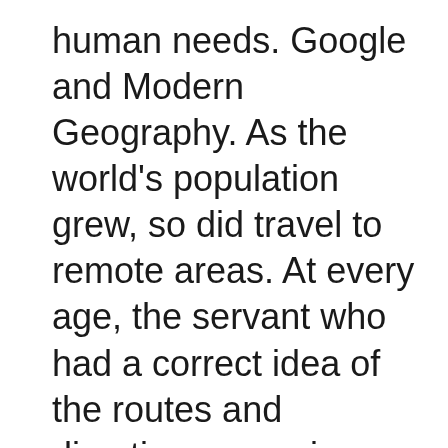human needs. Google and Modern Geography. As the world's population grew, so did travel to remote areas. At every age, the servant who had a correct idea of the routes and directions was given great importance, because under his leadership caravans traveled in the seas, deserts, mountains, and plains. In any case, only those who know the routes and